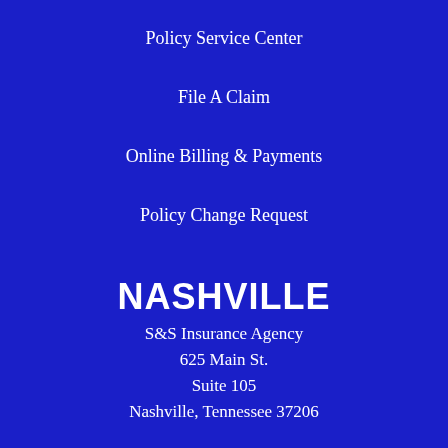Policy Service Center
File A Claim
Online Billing & Payments
Policy Change Request
NASHVILLE
S&S Insurance Agency
625 Main St.
Suite 105
Nashville, Tennessee 37206